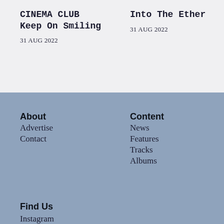CINEMA CLUB Keep On Smiling
31 AUG 2022
Into The Ether
31 AUG 2022
About
Advertise
Contact
Content
News
Features
Tracks
Albums
Find Us
Instagram